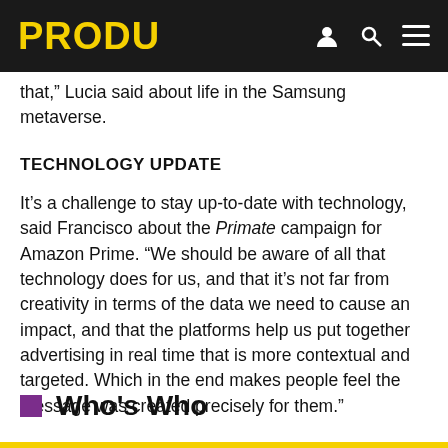PRODU
that,” Lucia said about life in the Samsung metaverse.
TECHNOLOGY UPDATE
It’s a challenge to stay up-to-date with technology, said Francisco about the Primate campaign for Amazon Prime. “We should be aware of all that technology does for us, and that it’s not far from creativity in terms of the data we need to cause an impact, and that the platforms help us put together advertising in real time that is more contextual and targeted. Which in the end makes people feel the message was created precisely for them.”
Who’s Who